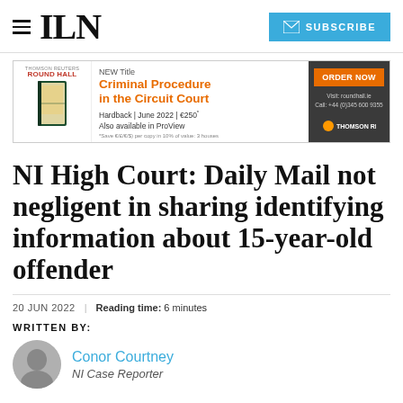ILN | SUBSCRIBE
[Figure (other): Advertisement banner for Round Hall 'Criminal Procedure in the Circuit Court' new title, Hardback June 2022, €250, also available in ProView. Order Now button. Thomson Reuters logo.]
NI High Court: Daily Mail not negligent in sharing identifying information about 15-year-old offender
20 JUN 2022 | Reading time: 6 minutes
WRITTEN BY:
Conor Courtney
NI Case Reporter